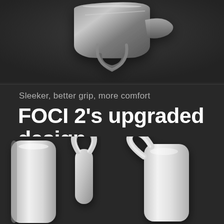[Figure (photo): Top-down view of a sleek dark gray/silver FOCI 2 wearable clip device against a dark background]
Sleeker, better grip, more comfort
FOCI 2's upgraded design
[Figure (photo): Three white FOCI 2 wearable clip devices shown from different angles at the bottom of the page against a dark background]